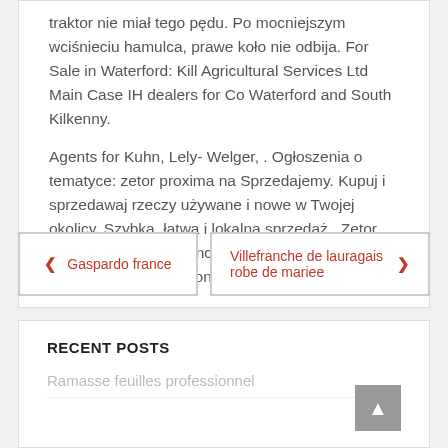traktor nie miał tego pędu. Po mocniejszym wciśnieciu hamulca, prawe koło nie odbija. For Sale in Waterford: Kill Agricultural Services Ltd Main Case IH dealers for Co Waterford and South Kilkenny.
Agents for Kuhn, Lely- Welger, . Ogłoszenia o tematyce: zetor proxima na Sprzedajemy. Kupuj i sprzedawaj rzeczy używane i nowe w Twojej okolicy. Szybka, łatwa i lokalna sprzedaż . Zetor Tractors for Tractors include Fastline. Engine power, Back tyres, Front tyres and .
❮ Gaspardo france
Villefranche de lauragais robe de mariee ❯
RECENT POSTS
Ramasse feuilles professionnel